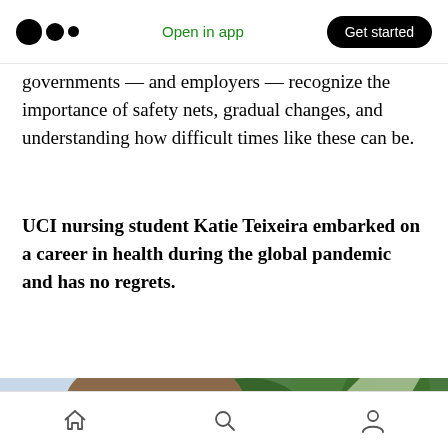Open in app | Get started
governments — and employers — recognize the importance of safety nets, gradual changes, and understanding how difficult times like these can be.
UCI nursing student Katie Teixeira embarked on a career in health during the global pandemic and has no regrets.
[Figure (photo): A woman wearing a face mask takes a selfie outdoors with trees visible in the background. Only the upper portion of her face and the mask are visible.]
Home | Search | Profile